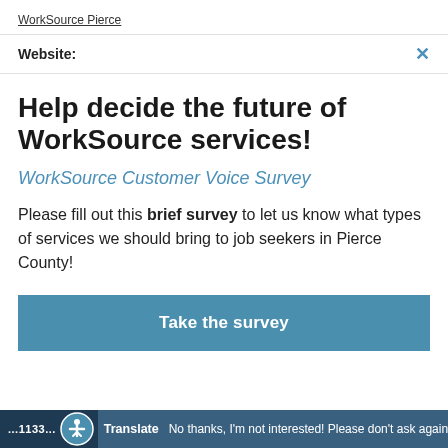WorkSource Pierce
Website:
Help decide the future of WorkSource services!
WorkSource Customer Voice Survey
Please fill out this brief survey to let us know what types of services we should bring to job seekers in Pierce County!
Take the survey
No thanks, I'm not interested! Please don't ask again